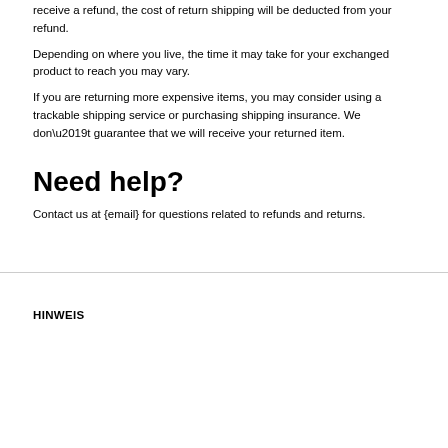receive a refund, the cost of return shipping will be deducted from your refund.
Depending on where you live, the time it may take for your exchanged product to reach you may vary.
If you are returning more expensive items, you may consider using a trackable shipping service or purchasing shipping insurance. We don't guarantee that we will receive your returned item.
Need help?
Contact us at {email} for questions related to refunds and returns.
HINWEIS